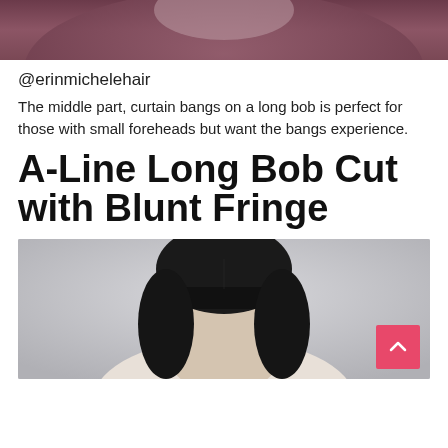[Figure (photo): Top portion of a person wearing a dark mauve/burgundy t-shirt, cropped at neck level, against a light background]
@erinmichelehair
The middle part, curtain bangs on a long bob is perfect for those with small foreheads but want the bangs experience.
A-Line Long Bob Cut with Blunt Fringe
[Figure (photo): Person with dark black hair styled in an A-line long bob cut with blunt fringe/bangs, shown from shoulders up against a light grey background]